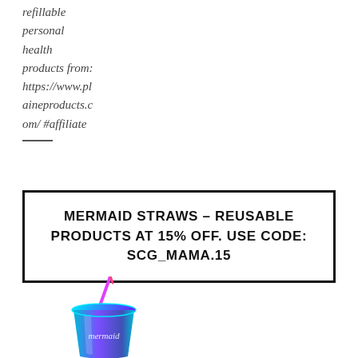refillable
personal
health
products from:
https://www.plaineproducts.com/ #affiliate
MERMAID STRAWS - REUSABLE PRODUCTS AT 15% OFF. USE CODE: SCG_MAMA.15
[Figure (photo): A reusable iridescent/rainbow-colored tumbler cup with a colorful straw, sitting on a white background.]